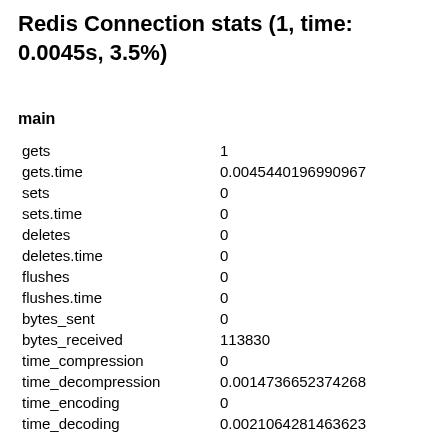Redis Connection stats (1, time: 0.0045s, 3.5%)
main
| key | value |
| --- | --- |
| gets | 1 |
| gets.time | 0.0045440196990967 |
| sets | 0 |
| sets.time | 0 |
| deletes | 0 |
| deletes.time | 0 |
| flushes | 0 |
| flushes.time | 0 |
| bytes_sent | 0 |
| bytes_received | 113830 |
| time_compression | 0 |
| time_decompression | 0.0014736652374268 |
| time_encoding | 0 |
| time_decoding | 0.0021064281463623 |